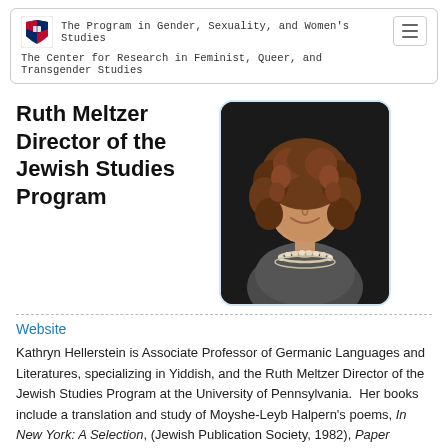The Program in Gender, Sexuality, and Women's Studies
The Center for Research in Feminist, Queer, and Transgender Studies
Ruth Meltzer Director of the Jewish Studies Program
[Figure (photo): Portrait photograph of Kathryn Hellerstein, a woman with curly brown hair, wearing a grey blazer and pearl necklace, smiling, against a dark background.]
Website
Kathryn Hellerstein is Associate Professor of Germanic Languages and Literatures, specializing in Yiddish, and the Ruth Meltzer Director of the Jewish Studies Program at the University of Pennsylvania.  Her books include a translation and study of Moyshe-Leyb Halpern's poems, In New York: A Selection, (Jewish Publication Society, 1982), Paper Bridges:  Selected Poems of Kadya Molodowsky (Wayne State University Press, 1999), and Jewish American